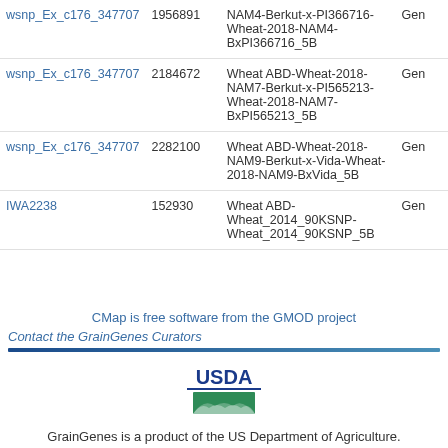| Marker | Position | Map | Type |
| --- | --- | --- | --- |
| wsnp_Ex_c176_347707 | 1956891 | Wheat ABD-Wheat-2018-NAM4-Berkut-x-PI366716-Wheat-2018-NAM4-BxPI366716_5B | Gen |
| wsnp_Ex_c176_347707 | 2184672 | Wheat ABD-Wheat-2018-NAM7-Berkut-x-PI565213-Wheat-2018-NAM7-BxPI565213_5B | Gen |
| wsnp_Ex_c176_347707 | 2282100 | Wheat ABD-Wheat-2018-NAM9-Berkut-x-Vida-Wheat-2018-NAM9-BxVida_5B | Gen |
| IWA2238 | 152930 | Wheat ABD-Wheat_2014_90KSNP-Wheat_2014_90KSNP_5B | Gen |
CMap is free software from the GMOD project
Contact the GrainGenes Curators
[Figure (logo): USDA logo with green landscape icon and USDA text]
GrainGenes is a product of the US Department of Agriculture.